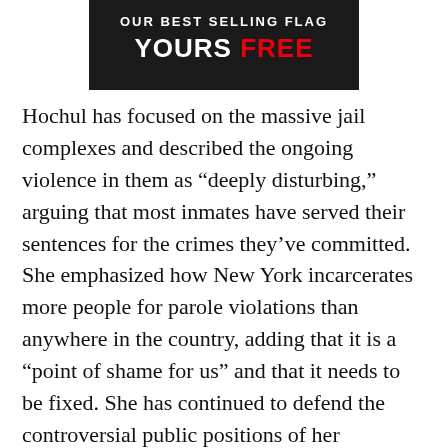[Figure (other): Advertisement banner with dark background showing 'OUR BEST SELLING FLAG' text and 'YOURS FREE' in large white and red letters]
Hochul has focused on the massive jail complexes and described the ongoing violence in them as “deeply disturbing,” arguing that most inmates have served their sentences for the crimes they’ve committed. She emphasized how New York incarcerates more people for parole violations than anywhere in the country, adding that it is a “point of shame for us” and that it needs to be fixed. She has continued to defend the controversial public positions of her appointees by saying that no one in her administration supports defunding the police.
“That was a catchphrase that had very negative connotations. And I believe that we have to continue to fund the police in the state to make sure that they can